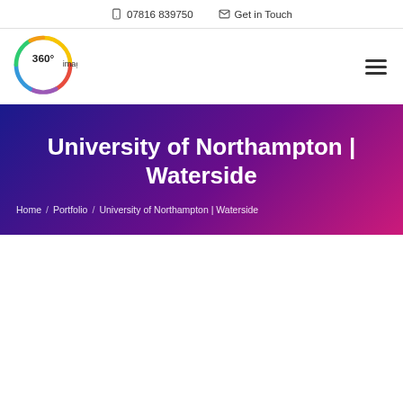07816 839750  Get in Touch
[Figure (logo): 360° imagery logo — circular rainbow-colored ring with '360°' text inside and 'imagery' text to the right]
University of Northampton | Waterside
Home / Portfolio / University of Northampton | Waterside